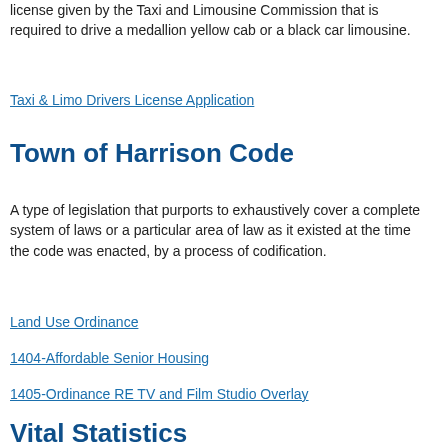license given by the Taxi and Limousine Commission that is required to drive a medallion yellow cab or a black car limousine.
Taxi & Limo Drivers License Application
Town of Harrison Code
A type of legislation that purports to exhaustively cover a complete system of laws or a particular area of law as it existed at the time the code was enacted, by a process of codification.
Land Use Ordinance
1404-Affordable Senior Housing
1405-Ordinance RE TV and Film Studio Overlay
Vital Statistics